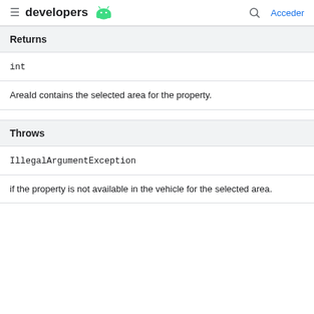≡ developers 🤖  🔍 Acceder
Returns
int
AreaId contains the selected area for the property.
Throws
IllegalArgumentException
if the property is not available in the vehicle for the selected area.